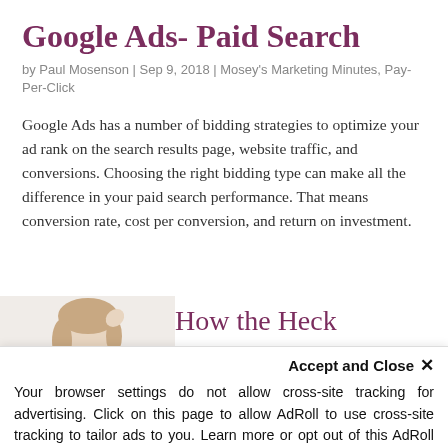Google Ads- Paid Search
by Paul Mosenson | Sep 9, 2018 | Mosey's Marketing Minutes, Pay-Per-Click
Google Ads has a number of bidding strategies to optimize your ad rank on the search results page, website traffic, and conversions. Choosing the right bidding type can make all the difference in your paid search performance. That means conversion rate, cost per conversion, and return on investment.
How the Heck
Accept and Close ✕
Your browser settings do not allow cross-site tracking for advertising. Click on this page to allow AdRoll to use cross-site tracking to tailor ads to you. Learn more or opt out of this AdRoll tracking by clicking here. This message only appears once.